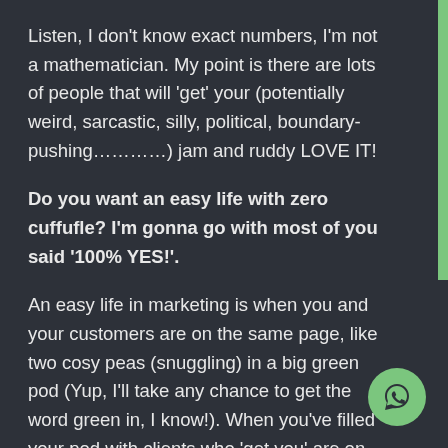Listen, I don't know exact numbers, I'm not a mathematician. My point is there are lots of people that will 'get' your (potentially weird, sarcastic, silly, political, boundary-pushing…………) jam and ruddy LOVE IT!
Do you want an easy life with zero cuffufle? I'm gonna go with most of you said '100% YES!'.
An easy life in marketing is when you and your customers are on the same page, like two cosy peas (snuggling) in a big green pod (Yup, I'll take any chance to get the word green in, I know!). When you've filled your pod with clients who 'get you' are on the train to fun town; the process is simpler